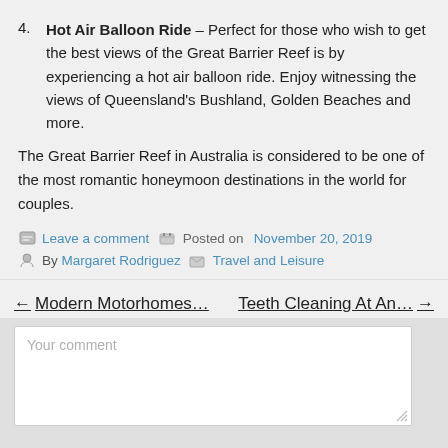4. Hot Air Balloon Ride – Perfect for those who wish to get the best views of the Great Barrier Reef is by experiencing a hot air balloon ride. Enjoy witnessing the views of Queensland's Bushland, Golden Beaches and more.
The Great Barrier Reef in Australia is considered to be one of the most romantic honeymoon destinations in the world for couples.
Leave a comment  Posted on November 20, 2019  By Margaret Rodriguez  Travel and Leisure
← Modern Motorhomes…   Teeth Cleaning At An… →
Your comment